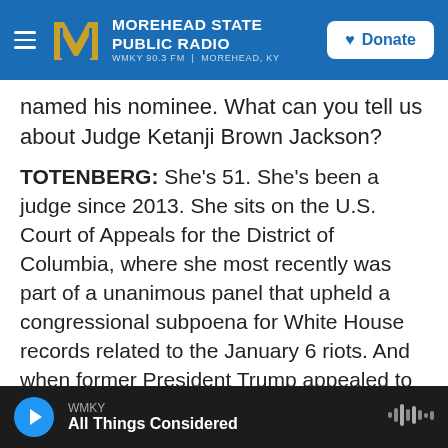[Figure (screenshot): Morehead State Public Radio header with logo, station name, WMKY 90.3 FM | MOREHEAD, KY, and Donate button]
named his nominee. What can you tell us about Judge Ketanji Brown Jackson?
TOTENBERG: She's 51. She's been a judge since 2013. She sits on the U.S. Court of Appeals for the District of Columbia, where she most recently was part of a unanimous panel that upheld a congressional subpoena for White House records related to the January 6 riots. And when former President Trump appealed to the Supreme Court, the justices left the appeals court ruling intact. Before President Biden elevated her to the appeals court, Jackson served for eight years as a federal
WMKY
All Things Considered